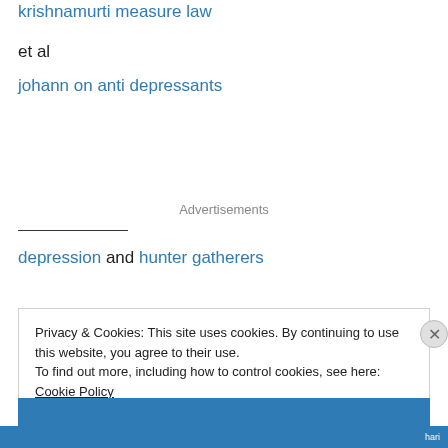krishnamurti measure law
et al
johann on anti depressants
Advertisements
depression and hunter gatherers
Privacy & Cookies: This site uses cookies. By continuing to use this website, you agree to their use.
To find out more, including how to control cookies, see here: Cookie Policy
Close and accept